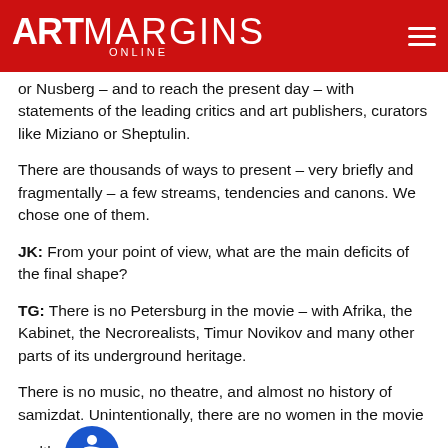ARTMARGINS ONLINE
or Nusberg – and to reach the present day – with statements of the leading critics and art publishers, curators like Miziano or Sheptulin.
There are thousands of ways to present – very briefly and fragmentally – a few streams, tendencies and canons. We chose one of them.
JK: From your point of view, what are the main deficits of the final shape?
TG: There is no Petersburg in the movie – with Afrika, the Kabinet, the Necrorealists, Timur Novikov and many other parts of its underground heritage.
There is no music, no theatre, and almost no history of samizdat. Unintentionally, there are no women in the movie – altho there were a lot of significant female authors in the unoffi culture – Petersova, Masterkova, Kirins, Khlabnikova...